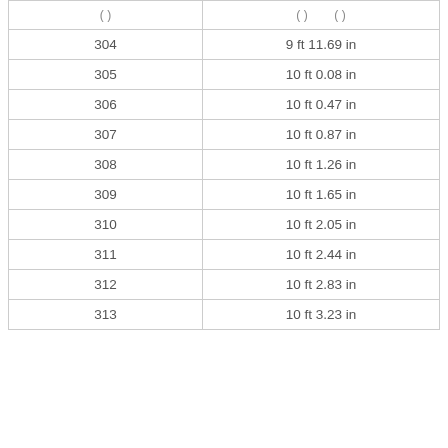| ( ) | ( ) | ( ) |
| --- | --- | --- |
| 304 | 9 ft 11.69 in |
| 305 | 10 ft 0.08 in |
| 306 | 10 ft 0.47 in |
| 307 | 10 ft 0.87 in |
| 308 | 10 ft 1.26 in |
| 309 | 10 ft 1.65 in |
| 310 | 10 ft 2.05 in |
| 311 | 10 ft 2.44 in |
| 312 | 10 ft 2.83 in |
| 313 | 10 ft 3.23 in |